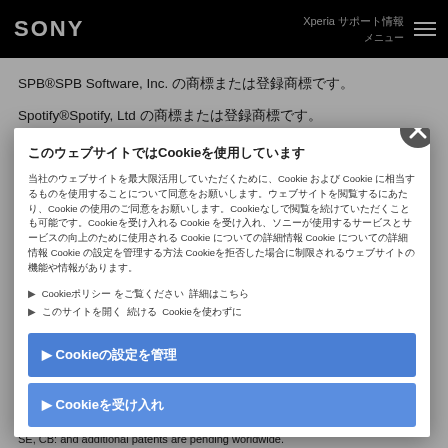SONY  Xperia サポート情報
SPB®SPB Software, Inc. の商標または登録商標です。
Spotify®Spotify, Ltd の商標または登録商標です。
SugarSync®KeepItSafe, Inc.の商標または登録商標です。
SureType®Research In Motion Limited の商標または登録商標です。
Symbian®Symbian Foundation Ltd の商標または登録商標です。
このウェブサイトではCookieを使用しています
当社のウェブサイトを最大限活用していただくために、Cookie および Cookie に相当するものを使用することについて同意をお願いします。ウェブサイトを閲覧するにあたり、Cookie の使用のご同意をお願いします。Cookieなしで閲覧を続けていただくことも可能です。Cookieを受け入れる Cookie を受け入れ、ソニーが使用するサービスとサービスの向上のために使用される Cookie についての詳細情報 Cookie についての詳細情報 Cookie の設定を管理する方法 Cookieを拒否した場合に制限されるウェブサイトの機能や情報があります。
詳細はこちら ▶ Cookieポリシー をご覧ください
Cookieを使わずに ▶ このサイトを開く 続ける
▶ Cookieの設定を管理
▶ Cookieを受け入れ
SE, CB: and additional patents are pending worldwide.